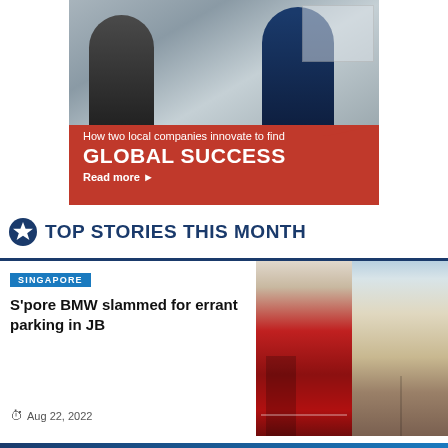[Figure (photo): Banner advertisement showing two men in business attire having a meeting, over a red background. Text reads: 'How two local companies innovate to find GLOBAL SUCCESS. Read more ►']
TOP STORIES THIS MONTH
SINGAPORE
S'pore BMW slammed for errant parking in JB
[Figure (photo): Two street photos side by side showing a bright red shophouse building and a heritage street scene.]
Aug 22, 2022